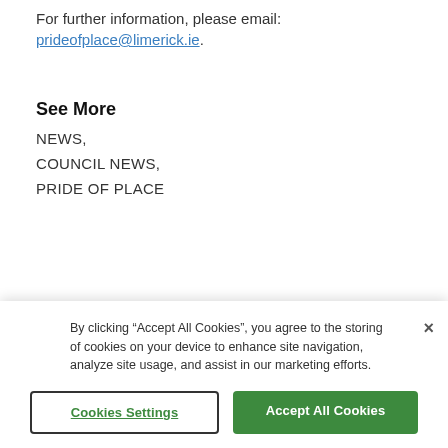For further information, please email:
prideofplace@limerick.ie.
See More
NEWS,
COUNCIL NEWS,
PRIDE OF PLACE
SHARE THIS
By clicking “Accept All Cookies”, you agree to the storing of cookies on your device to enhance site navigation, analyze site usage, and assist in our marketing efforts.
Cookies Settings
Accept All Cookies